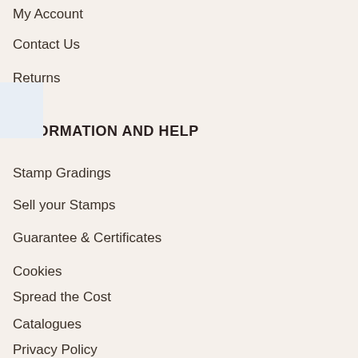My Account
Contact Us
Returns
ery
INFORMATION AND HELP
Stamp Gradings
Sell your Stamps
Guarantee & Certificates
Cookies
Spread the Cost
Catalogues
Privacy Policy